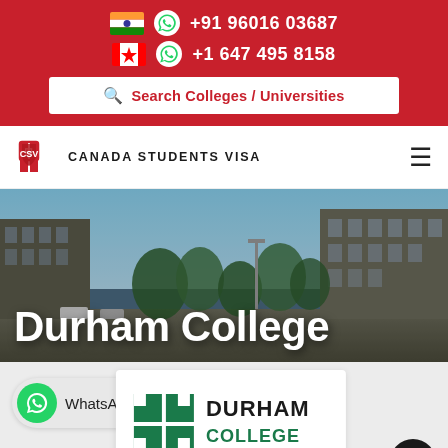+91 96016 03687  +1 647 495 8158  Search Colleges / Universities
[Figure (logo): Canada Students Visa logo with shield icon and text]
[Figure (photo): Durham College campus building exterior with trees and blue sky]
Durham College
[Figure (logo): WhatsApp widget button and Durham College logo at bottom]